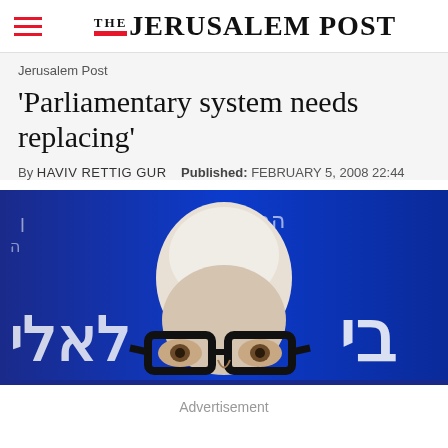THE JERUSALEM POST
Jerusalem Post
'Parliamentary system needs replacing'
By HAVIV RETTIG GUR   Published: FEBRUARY 5, 2008 22:44
[Figure (photo): Close-up photo of an elderly man with white hair and large black-rimmed glasses against a blue background with Hebrew text]
Advertisement